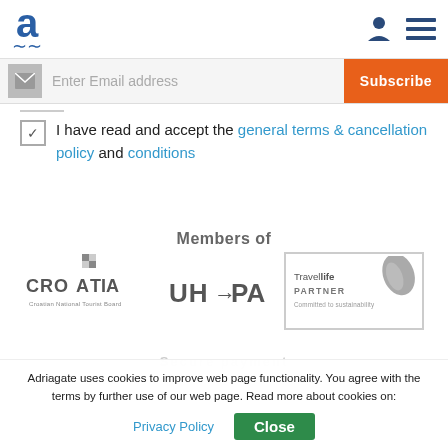Adriagate logo, user icon, hamburger menu
Enter Email address  Subscribe
I have read and accept the general terms & cancellation policy and conditions
Members of
[Figure (logo): Croatia - Croatian National Tourist Board logo]
[Figure (logo): UHPA logo]
[Figure (logo): Travelife Partner - Committed to sustainability logo]
Secure payment
Adriagate uses cookies to improve web page functionality. You agree with the terms by further use of our web page. Read more about cookies on:
Privacy Policy   Close